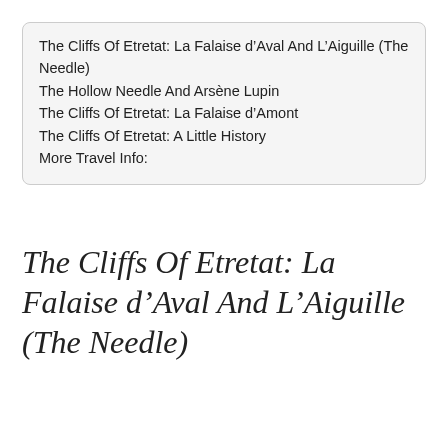The Cliffs Of Etretat: La Falaise d’Aval And L’Aiguille (The Needle)
The Hollow Needle And Arsène Lupin
The Cliffs Of Etretat: La Falaise d’Amont
The Cliffs Of Etretat: A Little History
More Travel Info:
The Cliffs Of Etretat: La Falaise d’Aval And L’Aiguille (The Needle)